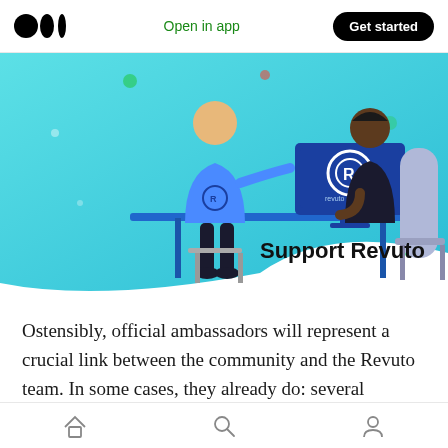Open in app  Get started
[Figure (illustration): Illustration of two people sitting at a desk with a computer monitor displaying the Revuto logo. One person wears a blue Revuto t-shirt and sits on a stool; the other sits in a chair. Text overlay reads 'Support Revuto'.]
Ostensibly, official ambassadors will represent a crucial link between the community and the Revuto team. In some cases, they already do: several internal team members are on friendly
Home  Search  Profile